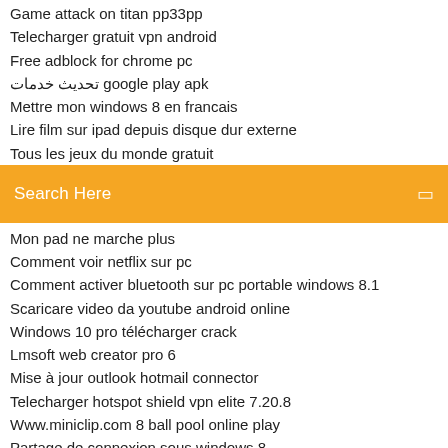Game attack on titan pp33pp
Telecharger gratuit vpn android
Free adblock for chrome pc
تحديث خدمات google play apk
Mettre mon windows 8 en francais
Lire film sur ipad depuis disque dur externe
Tous les jeux du monde gratuit
[Figure (screenshot): Orange search bar with 'Search Here' placeholder text and a search icon on the right]
Mon pad ne marche plus
Comment voir netflix sur pc
Comment activer bluetooth sur pc portable windows 8.1
Scaricare video da youtube android online
Windows 10 pro télécharger crack
Lmsoft web creator pro 6
Mise à jour outlook hotmail connector
Telecharger hotspot shield vpn elite 7.20.8
Www.miniclip.com 8 ball pool online play
Partage de connexion sous windows 8